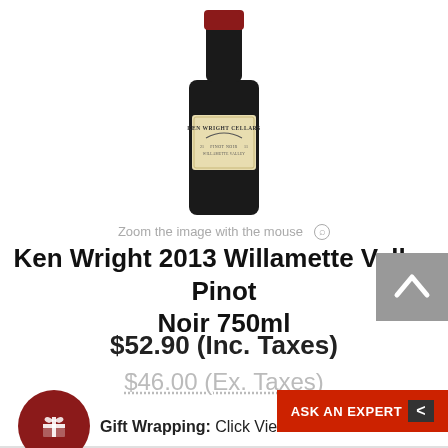[Figure (photo): Wine bottle of Ken Wright Cellars 2013 Willamette Valley Pinot Noir 750ml, dark glass bottle with cream/tan label]
Zoom the image with the mouse 🔍
Ken Wright 2013 Willamette Valley Pinot Noir 750ml
$52.90 (Inc. Taxes)
$46.00 (Ex. Taxes)
Gift Wrapping: Click View Cart to add
ASK AN EXPERT